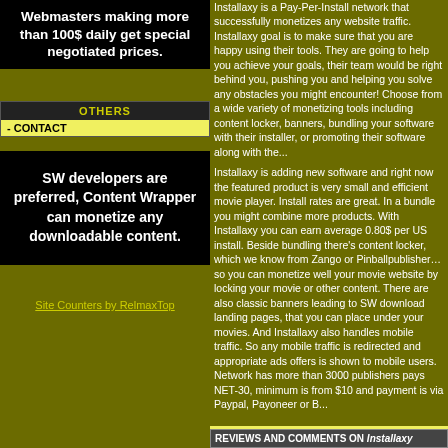Webmasters making more than 100$ daily get special negotiated prices.
OTHERS
- CONTACT
SW developers are preferred, Content Wrapper can monetize any downloadable content.
Site Counters by RelmaxTop
Installaxy is a Pay-Per-Install network that successfully monetizes any website traffic. Installaxy goal is to make sure that you are happy using their tools. They are going to help you achieve your goals, their team would be right behind you, pushing you and helping you solve any obstacles you might encounter! Choose from a wide variety of monetizing tools including content locker, banners, bundling your software with their installer, or promoting their software along with the...
Installaxy is adding new software and right now the featured product is very small and efficient movie player. Install rates are great. In a bundle you might combine more products. With Installaxy you can earn average 0.80$ per US install. Beside bundling there's content locker, which we know from Zango or Pinballpublisher… so you can monetize well your movie website by locking your movie or other content. There are also classic banners leading to SW download landing pages, that you can place under your movies. And Installaxy also handles mobile traffic. So any mobile traffic is redirected and appropriate ads offers is shown to mobile users. Network has more than 3000 publishers pays NET-30, minimum is from $10 and payment is via Paypal, Payoneer or Bitcoin.
Recommend it!  Category:  Pay Per Install
REVIEWS AND COMMENTS ON Installaxy